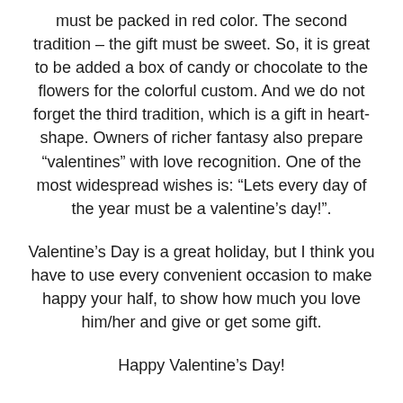must be packed in red color. The second tradition – the gift must be sweet. So, it is great to be added a box of candy or chocolate to the flowers for the colorful custom. And we do not forget the third tradition, which is a gift in heart-shape. Owners of richer fantasy also prepare “valentines” with love recognition. One of the most widespread wishes is: “Lets every day of the year must be a valentine’s day!”.
Valentine’s Day is a great holiday, but I think you have to use every convenient occasion to make happy your half, to show how much you love him/her and give or get some gift.
Happy Valentine’s Day!